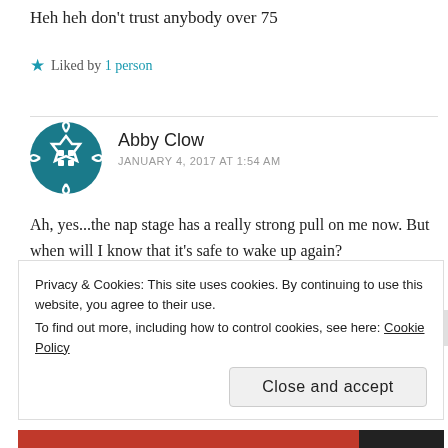Heh heh don't trust anybody over 75
★ Liked by 1 person
Abby Clow
JANUARY 4, 2017 AT 1:54 AM
Ah, yes...the nap stage has a really strong pull on me now. But when will I know that it's safe to wake up again?
Privacy & Cookies: This site uses cookies. By continuing to use this website, you agree to their use.
To find out more, including how to control cookies, see here: Cookie Policy